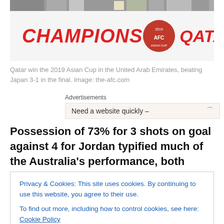[Figure (photo): Banner image showing Qatar Asian Cup Champions with CHAMPIONS text in red italic and QATAR text with a badge logo on the right. A strip of people at the top.]
Qatar win the 2019 Asian Cup in the United Arab Emirates, beating Japan 3-1 in the final. Image: the-afc.com
Advertisements
Need a website quickly –
Possession of 73% for 3 shots on goal against 4 for Jordan typified much of the Australia's performance, both
Privacy & Cookies: This site uses cookies. By continuing to use this website, you agree to their use.
To find out more, including how to control cookies, see here: Cookie Policy
Close and accept
penalty in the first half, it was a well deserved win by